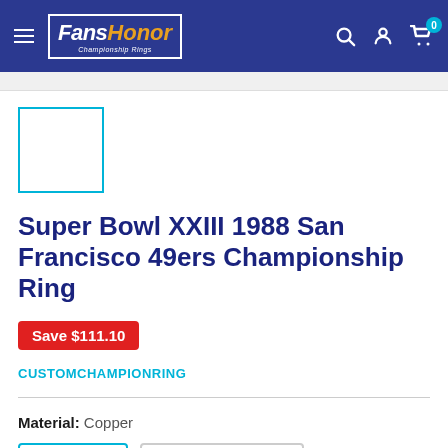FansHonor Championship Rings — navigation header with search, account, and cart icons
[Figure (screenshot): Product thumbnail placeholder — empty white box with teal/cyan border]
Super Bowl XXIII 1988 San Francisco 49ers Championship Ring
Save $111.10
CUSTOMCHAMPIONRING
Material: Copper
Copper | 925 Sterling Silver